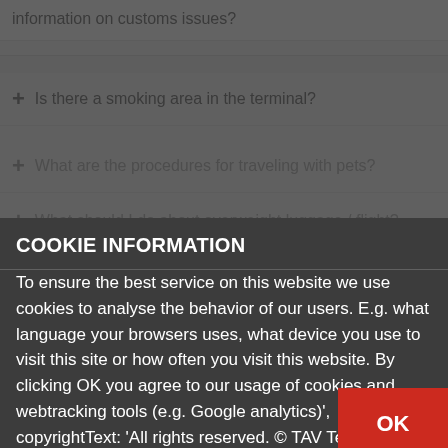information on customs issues?
+ Is there a smoking area in the terminal?
COOKIE INFORMATION
To ensure the best service on this website we use cookies to analyse the behavior of our users. E.g. what language your browsers uses, what device you use to visit this site or how often you visit this website. By clicking OK you agree to our usage of cookies and webtracking tools (e.g. Google analytics)', copyrightText: 'All rights reserved. © TAV Technologies
+ What are the procedures for traveling with pets?
+ Where can I get information on flights?
+ Where can I find the medical center in the terminal?
+ What are the customs procedures at Tbilisi / Batumi